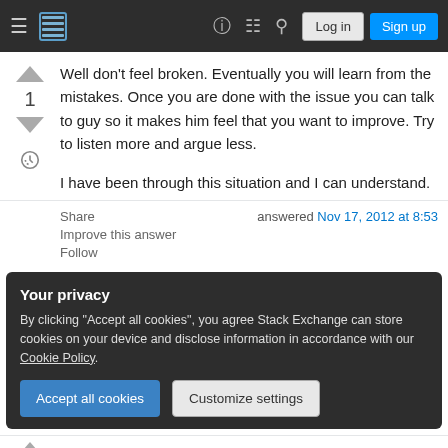Stack Exchange navigation bar with hamburger menu, logo, search, log in and sign up buttons
Well don't feel broken. Eventually you will learn from the mistakes. Once you are done with the issue you can talk to guy so it makes him feel that you want to improve. Try to listen more and argue less.

I have been through this situation and I can understand.
Share | answered Nov 17, 2012 at 8:53 | Improve this answer | Follow
Your privacy
By clicking "Accept all cookies", you agree Stack Exchange can store cookies on your device and disclose information in accordance with our Cookie Policy.
Accept all cookies | Customize settings
0  How would you react if someone told you...